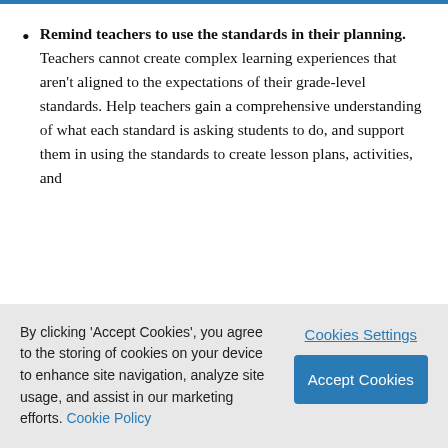Remind teachers to use the standards in their planning. Teachers cannot create complex learning experiences that aren't aligned to the expectations of their grade-level standards. Help teachers gain a comprehensive understanding of what each standard is asking students to do, and support them in using the standards to create lesson plans, activities, and
By clicking 'Accept Cookies', you agree to the storing of cookies on your device to enhance site navigation, analyze site usage, and assist in our marketing efforts. Cookie Policy